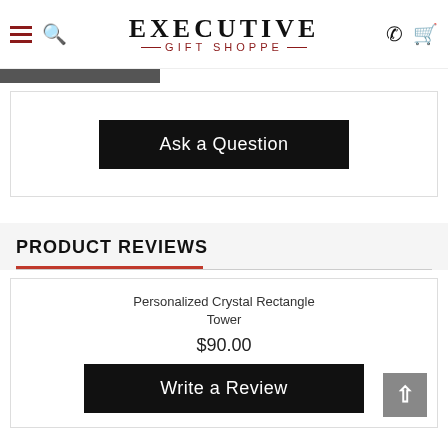Executive Gift Shoppe
[Figure (screenshot): Dark navigation bar element partial view]
Ask a Question
PRODUCT REVIEWS
Personalized Crystal Rectangle Tower
$90.00
Write a Review